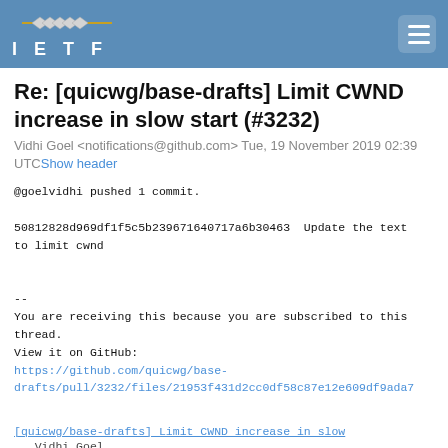IETF
Re: [quicwg/base-drafts] Limit CWND increase in slow start (#3232)
Vidhi Goel <notifications@github.com> Tue, 19 November 2019 02:39 UTCShow header
@goelvidhi pushed 1 commit.

50812828d969df1f5c5b239671640717a6b30463  Update the text to limit cwnd


--
You are receiving this because you are subscribed to this thread.
View it on GitHub:
https://github.com/quicwg/base-drafts/pull/3232/files/21953f431d2cc0df58c87e12e609df9ada7
[quicwg/base-drafts] Limit CWND increase in slow
…  Vidhi Goel
    Re: [quicwg/base-drafts] Limit CWND increase in